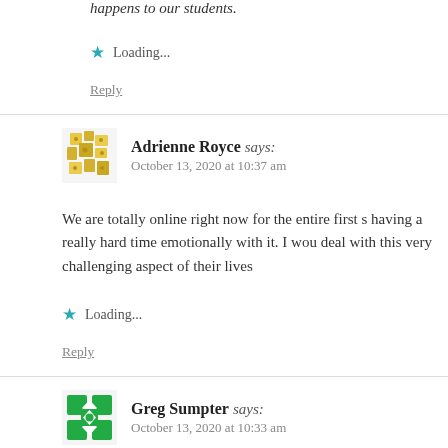happens to our students.
★ Loading...
Reply
Adrienne Royce says: October 13, 2020 at 10:37 am
We are totally online right now for the entire first s having a really hard time emotionally with it. I wou deal with this very challenging aspect of their lives
★ Loading...
Reply
Greg Sumpter says: October 13, 2020 at 10:33 am